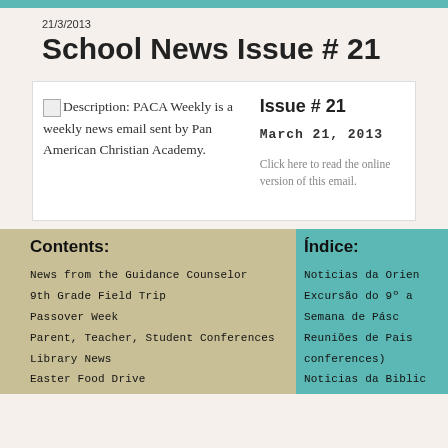21/3/2013
School News Issue # 21
Description: PACA Weekly is a weekly news email sent by Pan American Christian Academy.
Issue # 21
March 21, 2013
Click here to read the online version of this email.
Contents:
Índice:
News from the Guidance Counselor
Noticias da Orien
9th Grade Field Trip
Excursão do 9º a
Passover Week
Semana de Pásc
Parent, Teacher, Student Conferences
Reuniões de Pais conferences)
Library News
Noticias da Biblic
Easter Food Drive